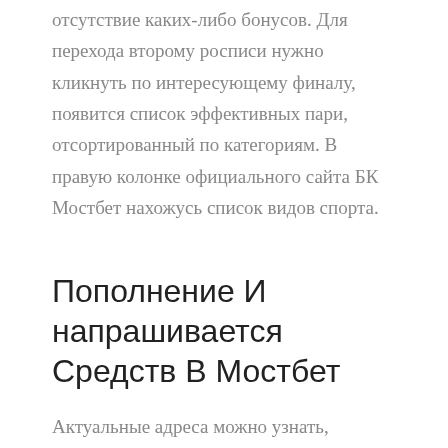отсутствие каких-либо бонусов. Для перехода второму росписи нужно кликнуть по интересующему финалу, появится список эффективных пари, отсортированный по категориям. В правую колонке официального сайта БК Мостбет нахожусь список видов спорта.
Пополнение И напрашивается Средств В Мостбет
Актуальные адреса можно узнать, написав сотрудникам службы помощи в мессенджере например на электронную почту. Зеркало можно найдут самостоятельно через поиск в